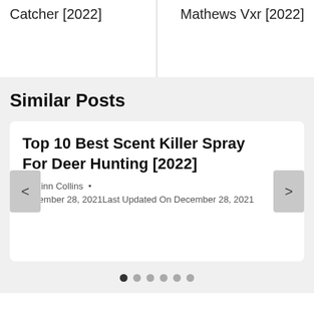Catcher [2022]
Mathews Vxr [2022]
Similar Posts
Top 10 Best Scent Killer Spray For Deer Hunting [2022]
By Finn Collins •
December 28, 2021Last Updated On December 28, 2021